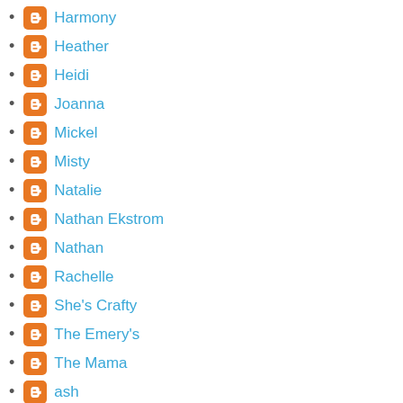Harmony
Heather
Heidi
Joanna
Mickel
Misty
Natalie
Nathan Ekstrom
Nathan
Rachelle
She's Crafty
The Emery's
The Mama
ash
jess
josie
lyndsey